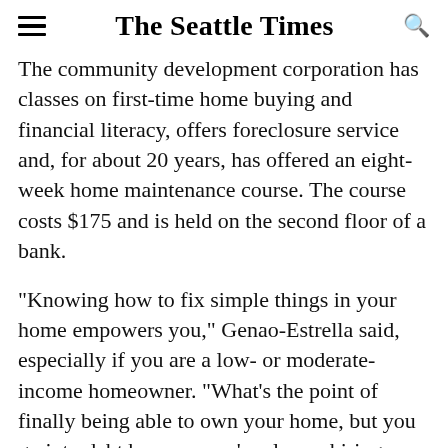The Seattle Times
The community development corporation has classes on first-time home buying and financial literacy, offers foreclosure service and, for about 20 years, has offered an eight-week home maintenance course. The course costs $175 and is held on the second floor of a bank.
“Knowing how to fix simple things in your home empowers you,” Genao-Estrella said, especially if you are a low- or moderate-income homeowner. “What’s the point of finally being able to own your home, but you go into debt because you’re always hiring someone to fix everything?”
Genao-Estrella has taken the course herself. When her home in Brooklyn was damaged by Hurricane Sandy almost six years ago, she hired a contractor